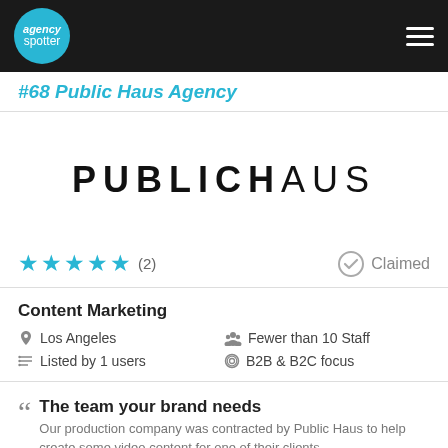agency spotter (logo/navigation bar)
#68 Public Haus Agency
[Figure (logo): PUBLICHAUS logo in large bold/thin uppercase letters]
★★★★★ (2)    Claimed
Content Marketing
Los Angeles
Fewer than 10 Staff
Listed by 1 users
B2B & B2C focus
The team your brand needs
Our production company was contracted by Public Haus to help create some video content for one of their clients...